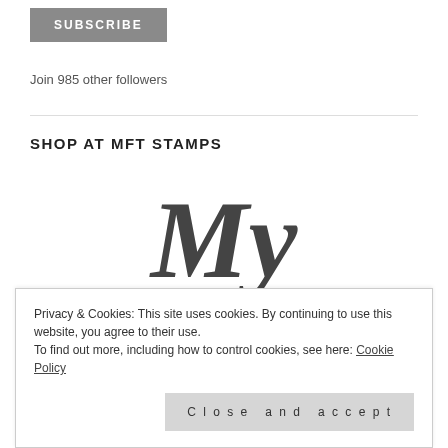[Figure (other): SUBSCRIBE button — grey rectangle with white uppercase bold text]
Join 985 other followers
SHOP AT MFT STAMPS
[Figure (logo): MFT Stamps logo in cursive script: 'My' in large italic dark grey font, with 'things' partially visible below]
Privacy & Cookies: This site uses cookies. By continuing to use this website, you agree to their use.
To find out more, including how to control cookies, see here: Cookie Policy
[Figure (other): Close and accept button — light grey rectangle with spaced letter text]